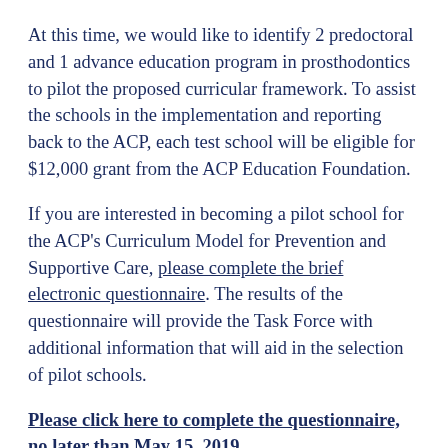At this time, we would like to identify 2 predoctoral and 1 advance education program in prosthodontics to pilot the proposed curricular framework. To assist the schools in the implementation and reporting back to the ACP, each test school will be eligible for $12,000 grant from the ACP Education Foundation.
If you are interested in becoming a pilot school for the ACP's Curriculum Model for Prevention and Supportive Care, please complete the brief electronic questionnaire. The results of the questionnaire will provide the Task Force with additional information that will aid in the selection of pilot schools.
Please click here to complete the questionnaire, no later than May 15, 2019.
If your institution is selected, the point person indicated in the questionnaire will be contacted additionally...